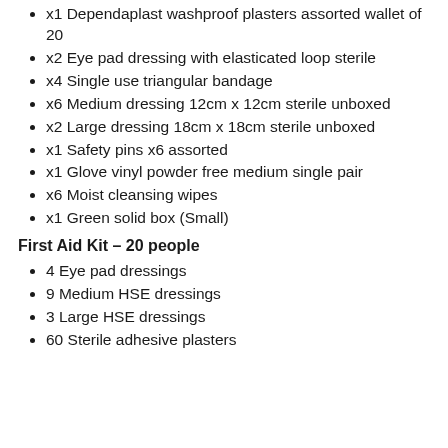x1 Dependaplast washproof plasters assorted wallet of 20
x2 Eye pad dressing with elasticated loop sterile
x4 Single use triangular bandage
x6 Medium dressing 12cm x 12cm sterile unboxed
x2 Large dressing 18cm x 18cm sterile unboxed
x1 Safety pins x6 assorted
x1 Glove vinyl powder free medium single pair
x6 Moist cleansing wipes
x1 Green solid box (Small)
First Aid Kit – 20 people
4 Eye pad dressings
9 Medium HSE dressings
3 Large HSE dressings
60 Sterile adhesive plasters